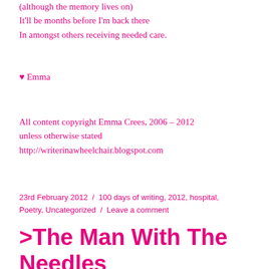(although the memory lives on)
It'll be months before I'm back there
In amongst others receiving needed care.
♥ Emma
All content copyright Emma Crees, 2006 – 2012 unless otherwise stated
http://writerinawheelchair.blogspot.com
23rd February 2012  /  100 days of writing, 2012, hospital, Poetry, Uncategorized  /  Leave a comment
>The Man With The Needles